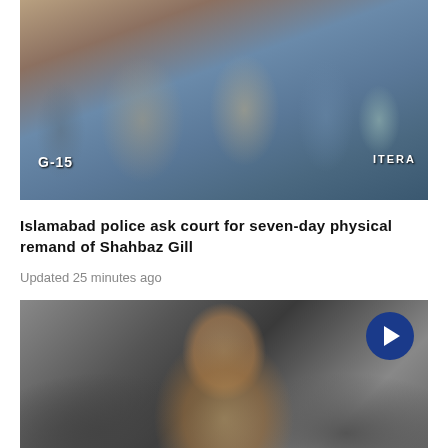[Figure (photo): Photo of Shahbaz Gill being escorted by Islamabad police officers in uniform, including one with badge G-15 visible]
Islamabad police ask court for seven-day physical remand of Shahbaz Gill
Updated 25 minutes ago
[Figure (photo): Photo of Imran Khan smiling, wearing a blue suit, with a video play button overlay in the upper right corner]